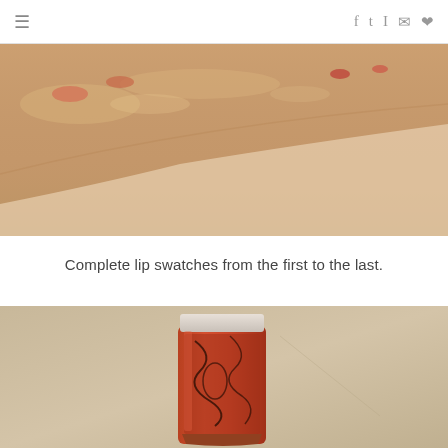≡  f  Twitter  Instagram  Mail  Pinterest
[Figure (photo): Close-up photo of skin (arm or hand) with small lip color swatches applied, showing pinkish-orange tones against skin. Background appears to be a white surface.]
Complete lip swatches from the first to the last.
[Figure (photo): Photo of an orange/red lip gloss tube with decorative tattoo-style artwork on the packaging, placed against a beige/tan background.]